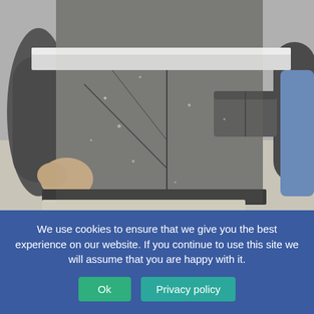[Figure (photo): Close-up photo of a person wearing a dusty/dirty dark gray work jacket/coverall with a white reflective horizontal band across the chest area. The person's hands are visible at the sides. Another person in blue is partially visible on the right edge.]
We use cookies to ensure that we give you the best experience on our website. If you continue to use this site we will assume that you are happy with it.